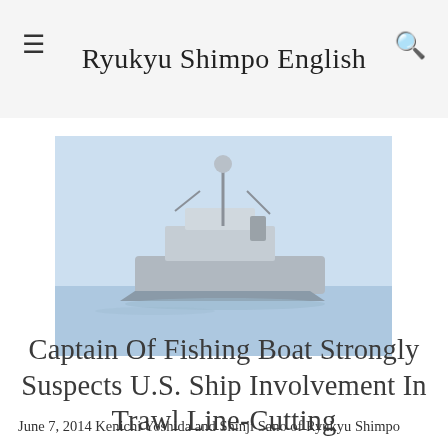Ryukyu Shimpo English
[Figure (photo): A fishing boat photographed at sea against a hazy light blue sky and calm water.]
Captain Of Fishing Boat Strongly Suspects U.S. Ship Involvement In Trawl Line-Cutting
June 7, 2014 Kenichi Yoshida and Shinji Sano of Ryukyu Shimpo